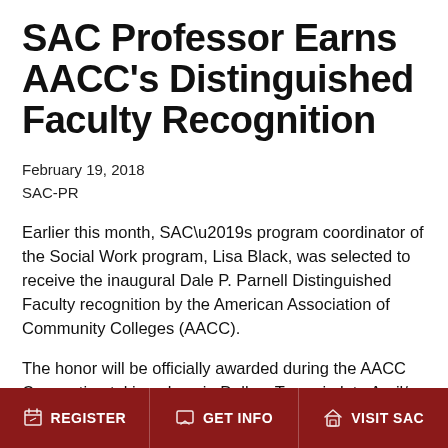SAC Professor Earns AACC's Distinguished Faculty Recognition
February 19, 2018
SAC-PR
Earlier this month, SAC’s program coordinator of the Social Work program, Lisa Black, was selected to receive the inaugural Dale P. Parnell Distinguished Faculty recognition by the American Association of Community Colleges (AACC).
The honor will be officially awarded during the AACC Convention taking place in Dallas, Texas in late April/
REGISTER | GET INFO | VISIT SAC